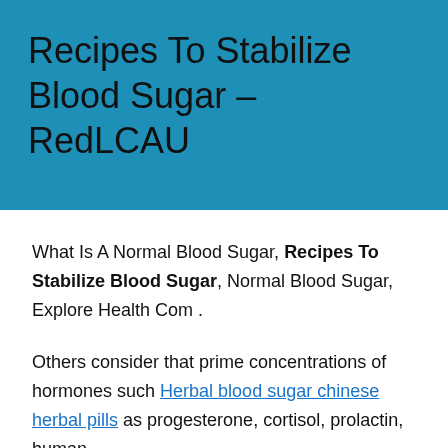Recipes To Stabilize Blood Sugar – RedLCAU
What Is A Normal Blood Sugar, Recipes To Stabilize Blood Sugar, Normal Blood Sugar, Explore Health Com .
Others consider that prime concentrations of hormones such Herbal blood sugar chinese herbal pills as progesterone, cortisol, prolactin, human